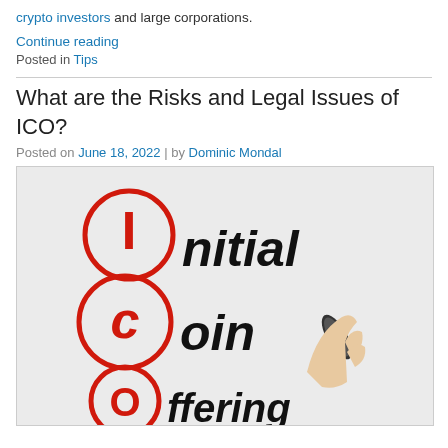crypto investors and large corporations.
Continue reading
Posted in Tips
What are the Risks and Legal Issues of ICO?
Posted on June 18, 2022 | by Dominic Mondal
[Figure (illustration): ICO acronym image showing Initial Coin Offering spelled out with red circled letters I, C, O and a hand writing with a marker]